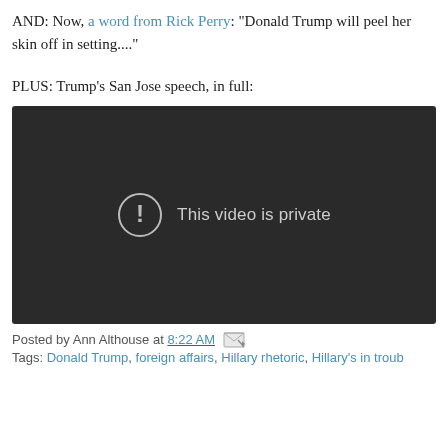AND: Now, a word from Rick Perry: "Donald Trump will peel her skin off in setting...."
PLUS: Trump's San Jose speech, in full:
[Figure (screenshot): Embedded video player showing 'This video is private' message with exclamation icon on dark background]
Posted by Ann Althouse at 8:22 AM
Tags: Donald Trump, foreign affairs, Hillary rhetoric, Hillary's in troub...